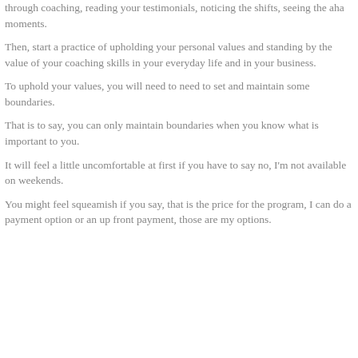through coaching, reading your testimonials, noticing the shifts, seeing the aha moments.
Then, start a practice of upholding your personal values and standing by the value of your coaching skills in your everyday life and in your business.
To uphold your values, you will need to need to set and maintain some boundaries.
That is to say, you can only maintain boundaries when you know what is important to you.
It will feel a little uncomfortable at first if you have to say no, I'm not available on weekends.
You might feel squeamish if you say, that is the price for the program, I can do a payment option or an up front payment, those are my options.